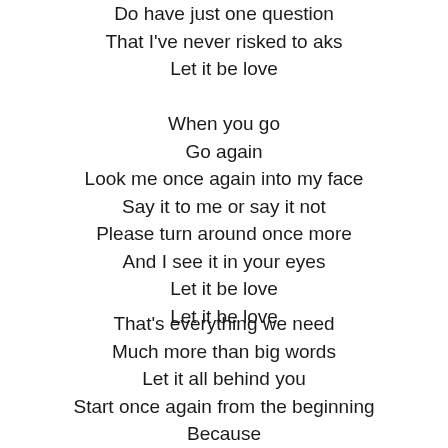Do have just one question
That I've never risked to aks
Let it be love
When you go
Go again
Look me once again into my face
Say it to me or say it not
Please turn around once more
And I see it in your eyes
Let it be love
Let it be love
That's everything we need
Much more than big words
Let it all behind you
Start once again from the beginning
Because